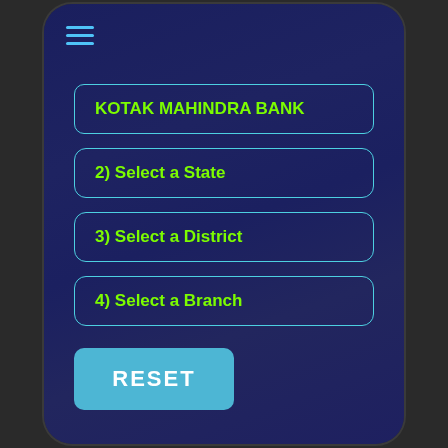[Figure (screenshot): Mobile app screenshot showing a bank branch finder UI on a dark blue background with a hamburger menu icon at top left]
KOTAK MAHINDRA BANK
2) Select a State
3) Select a District
4) Select a Branch
RESET